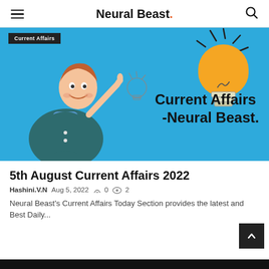Neural Beast.
[Figure (illustration): Blue banner with cartoon character pointing upward and a large lightbulb graphic. Text reads 'Current Affairs -Neural Beast.' with a small category label 'Current Affairs' in top left.]
5th August Current Affairs 2022
Hashini.V.N  Aug 5, 2022  0  2
Neural Beast's Current Affairs Today Section provides the latest and Best Daily...